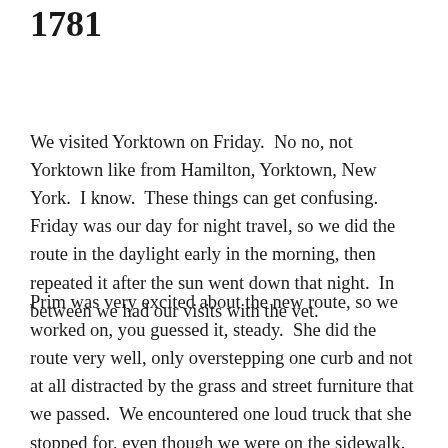1781
We visited Yorktown on Friday.  No no, not Yorktown like from Hamilton, Yorktown, New York.  I know.  These things can get confusing.  Friday was our day for night travel, so we did the route in the daylight early in the morning, then repeated it after the sun went down that night.  In between we had our visits with the vet.
Prim was very excited about the new route, so we worked on, you guessed it, steady.  She did the route very well, only overstepping one curb and not at all distracted by the grass and street furniture that we passed.  We encountered one loud truck that she stopped for, even though we were on the sidewalk.  She was just being a bit cautious.